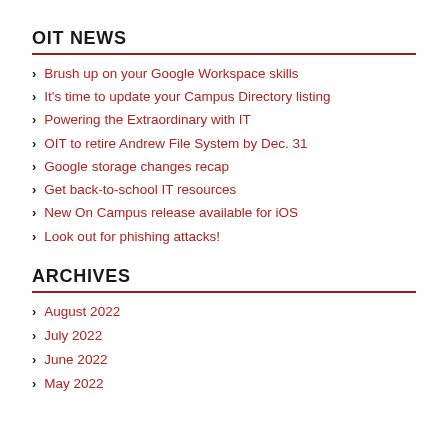OIT NEWS
Brush up on your Google Workspace skills
It's time to update your Campus Directory listing
Powering the Extraordinary with IT
OIT to retire Andrew File System by Dec. 31
Google storage changes recap
Get back-to-school IT resources
New On Campus release available for iOS
Look out for phishing attacks!
ARCHIVES
August 2022
July 2022
June 2022
May 2022